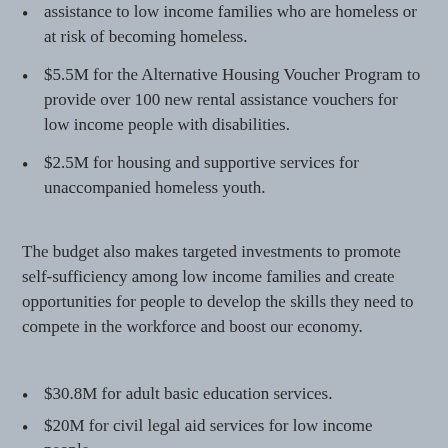assistance to low income families who are homeless or at risk of becoming homeless.
$5.5M for the Alternative Housing Voucher Program to provide over 100 new rental assistance vouchers for low income people with disabilities.
$2.5M for housing and supportive services for unaccompanied homeless youth.
The budget also makes targeted investments to promote self-sufficiency among low income families and create opportunities for people to develop the skills they need to compete in the workforce and boost our economy.
$30.8M for adult basic education services.
$20M for civil legal aid services for low income people.
$17.6M for the emergency food assistance program.